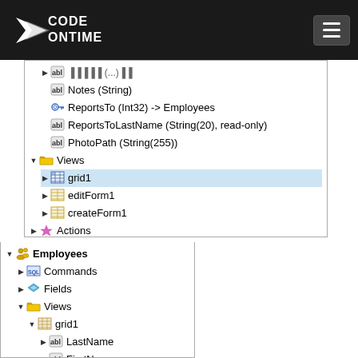[Figure (screenshot): Code On Time application builder screenshot showing a tree view of database fields and views. Upper panel shows fields: Notes (String), ReportsTo (Int32) -> Employees, ReportsToLastName (String(20) read-only), PhotoPath (String(255)), and Views section with grid1 (selected), editForm1, createForm1, Actions, Business Rules. Lower panel shows Employees node with Commands, Fields, Views > grid1 > LastName, FirstName, Title, TitleOfCourtesy, BirthDate, HireDate.]